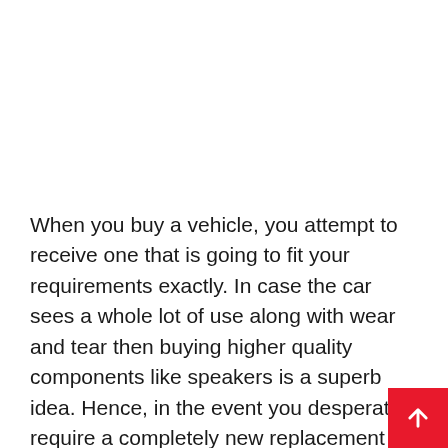When you buy a vehicle, you attempt to receive one that is going to fit your requirements exactly. In case the car sees a whole lot of use along with wear and tear then buying higher quality components like speakers is a superb idea. Hence, in the event you desperately require a completely new replacement part for your vehicle, you may have to wait till it's available at discount rates. It is crucial to get your vehicle to a mechanic once you observe the very first warning signs. A car starter is a system that enables you to begin your vehicle remotely. Soon enough, it will look as brand new vehicle!